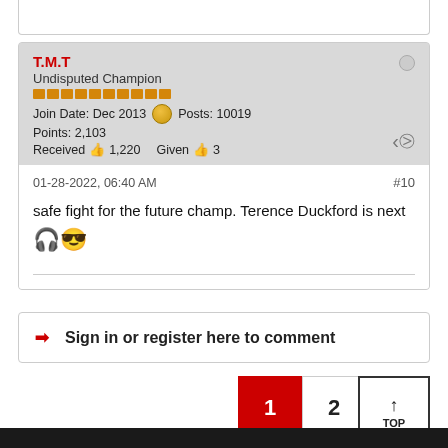T.M.T
Undisputed Champion
Join Date: Dec 2013  Posts: 10019
Points: 2,103
Received 1,220  Given 3
01-28-2022, 06:40 AM  #10
safe fight for the future champ. Terence Duckford is next 🎧
➜ Sign in or register here to comment
1  2  Next
↑ TOP